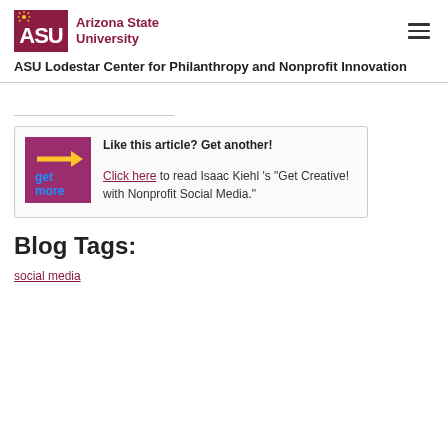ASU Arizona State University
ASU Lodestar Center for Philanthropy and Nonprofit Innovation
[Figure (logo): Get More logo — purple/magenta background with yellow arrow and blue 'get more' text]
Like this article? Get another! Click here to read Isaac Kiehl 's "Get Creative! with Nonprofit Social Media."
Blog Tags:
social media